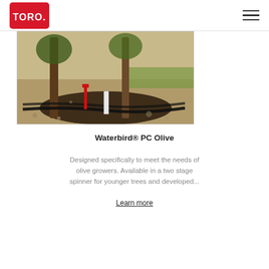TORO
[Figure (photo): Outdoor scene showing young olive trees with drip irrigation emitters and black tubing on dry gravelly soil]
Waterbird® PC Olive
Designed specifically to meet the needs of olive growers. Available in a two stage spinner for younger trees and developed...
Learn more